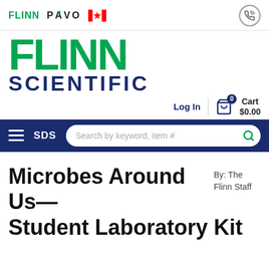[Figure (logo): Flinn Scientific website header with FLINN, PAVO, Canadian flag logos and phone icon]
Microbes Around Us—Student Laboratory Kit
By: The Flinn Staff